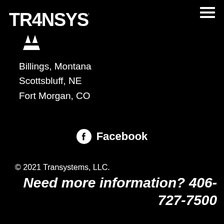[Figure (logo): TranSystems logo — white text on black background with arrow/T symbol]
Billings, Montana
Scottsbluff, NE
Fort Morgan, CO
Facebook
© 2021 Transystems, LLC.
Need more information? 406-727-7500